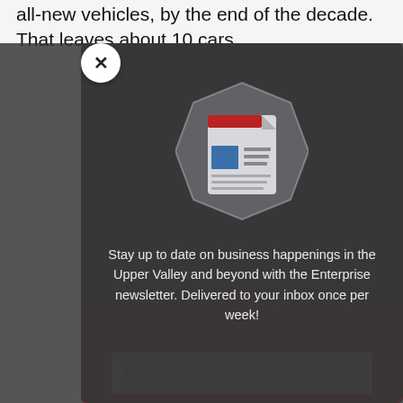all-new vehicles, by the end of the decade. That leaves about 10 cars
[Figure (screenshot): Newsletter signup modal dialog with dark background. Contains a newsletter/document icon illustration in the center, promotional text, and a red bottom section with an email input field. A close (X) button appears in the top-left corner of the modal.]
Stay up to date on business happenings in the Upper Valley and beyond with the Enterprise newsletter. Delivered to your inbox once per week!
Email